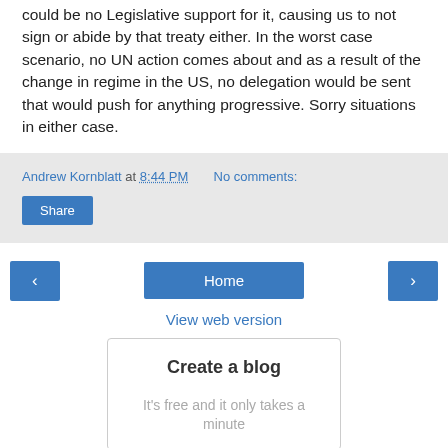could be no Legislative support for it, causing us to not sign or abide by that treaty either. In the worst case scenario, no UN action comes about and as a result of the change in regime in the US, no delegation would be sent that would push for anything progressive. Sorry situations in either case.
Andrew Kornblatt at 8:44 PM    No comments:
Share
‹    Home    ›
View web version
Create a blog

It's free and it only takes a minute